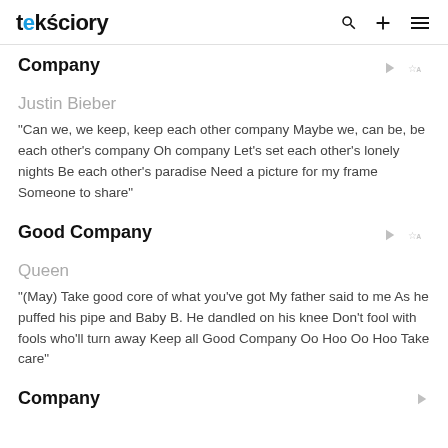teksciory
Company
Justin Bieber
"Can we, we keep, keep each other company Maybe we, can be, be each other's company Oh company Let's set each other's lonely nights Be each other's paradise Need a picture for my frame Someone to share"
Good Company
Queen
"(May) Take good core of what you've got My father said to me As he puffed his pipe and Baby B. He dandled on his knee Don't fool with fools who'll turn away Keep all Good Company Oo Hoo Oo Hoo Take care"
Company